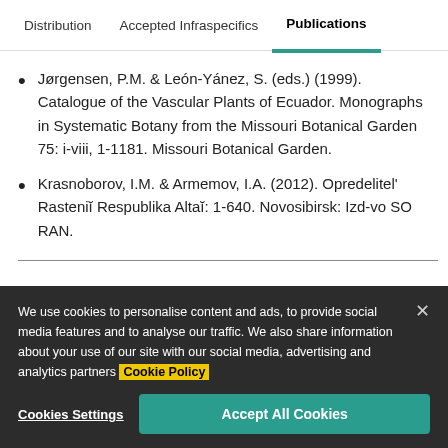Distribution   Accepted Infraspecifics   Publications
Jørgensen, P.M. & León-Yánez, S. (eds.) (1999). Catalogue of the Vascular Plants of Ecuador. Monographs in Systematic Botany from the Missouri Botanical Garden 75: i-viii, 1-1181. Missouri Botanical Garden.
Krasnoborov, I.M. & Armemov, I.A. (2012). Opredelitel' Rasteniĭ Respublika Altaĭ: 1-640. Novosibirsk: Izd-vo SO RAN.
We use cookies to personalise content and ads, to provide social media features and to analyse our traffic. We also share information about your use of our site with our social media, advertising and analytics partners Cookie Policy
Cookies Settings   Accept All Cookies